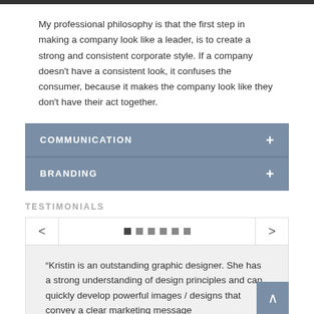My professional philosophy is that the first step in making a company look like a leader, is to create a strong and consistent corporate style. If a company doesn't have a consistent look, it confuses the consumer, because it makes the company look like they don't have their act together.
COMMUNICATION
BRANDING
TESTIMONIALS
“Kristin is an outstanding graphic designer. She has a strong understanding of design principles and can quickly develop powerful images / designs that convey a clear marketing message.